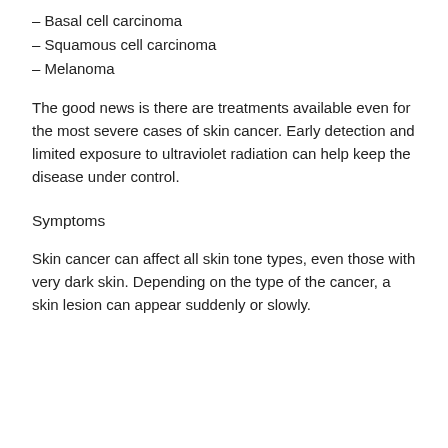– Basal cell carcinoma
– Squamous cell carcinoma
– Melanoma
The good news is there are treatments available even for the most severe cases of skin cancer. Early detection and limited exposure to ultraviolet radiation can help keep the disease under control.
Symptoms
Skin cancer can affect all skin tone types, even those with very dark skin. Depending on the type of the cancer, a skin lesion can appear suddenly or slowly.